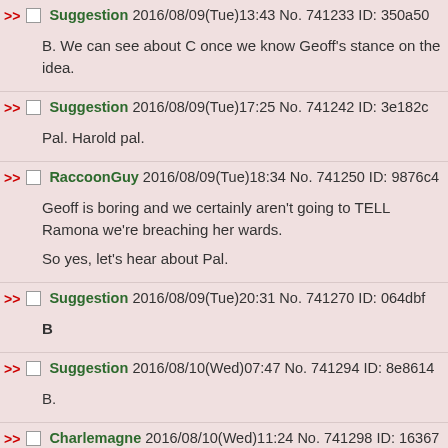Suggestion 2016/08/09(Tue)13:43 No. 741233 ID: 350a50 — B. We can see about C once we know Geoff's stance on the idea.
Suggestion 2016/08/09(Tue)17:25 No. 741242 ID: 3e182c — Pal. Harold pal.
RaccoonGuy 2016/08/09(Tue)18:34 No. 741250 ID: 9876c4 — Geoff is boring and we certainly aren't going to TELL Ramona we're breaching her wards. So yes, let's hear about Pal.
Suggestion 2016/08/09(Tue)20:31 No. 741270 ID: 064dbf — B
Suggestion 2016/08/10(Wed)07:47 No. 741294 ID: 8e8614 — B.
Charlemagne 2016/08/10(Wed)11:24 No. 741298 ID: 16367 — File 147085345396.png - (34.91KB , 500x500 , 100.png )